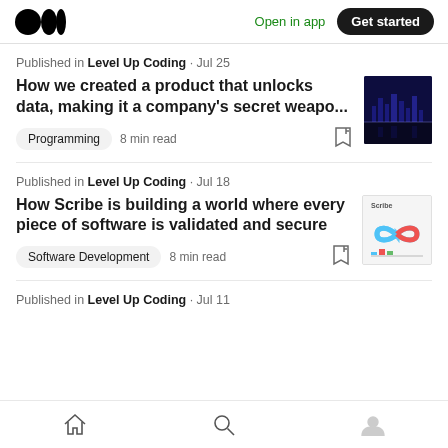Medium logo | Open in app | Get started
Published in Level Up Coding · Jul 25
How we created a product that unlocks data, making it a company's secret weapo...
Programming · 8 min read
Published in Level Up Coding · Jul 18
How Scribe is building a world where every piece of software is validated and secure
Software Development · 8 min read
Published in Level Up Coding · Jul 11
Home | Search | Profile